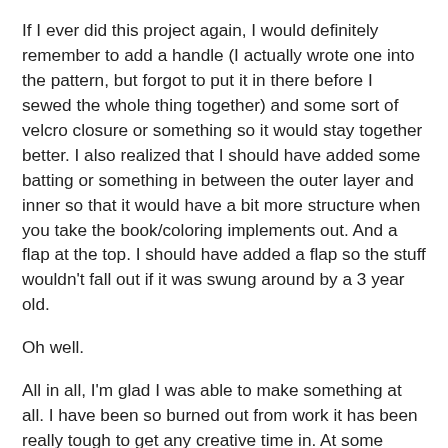If I ever did this project again, I would definitely remember to add a handle (I actually wrote one into the pattern, but forgot to put it in there before I sewed the whole thing together) and some sort of velcro closure or something so it would stay together better. I also realized that I should have added some batting or something in between the outer layer and inner so that it would have a bit more structure when you take the book/coloring implements out. And a flap at the top. I should have added a flap so the stuff wouldn't fall out if it was swung around by a 3 year old.
Oh well.
All in all, I'm glad I was able to make something at all. I have been so burned out from work it has been really tough to get any creative time in. At some point, I just resigned myself to the fact that I would have to hold off on my godchild's gift (still a surprise), and the Waldorf doll for Little Miss. The idea for my husband may also just have to wait until his birthday next year. Seems like a long ways away, but given the fact that I drafted my pattern for this little gift in September and didn't get to finish it until last week.... we've got to be more